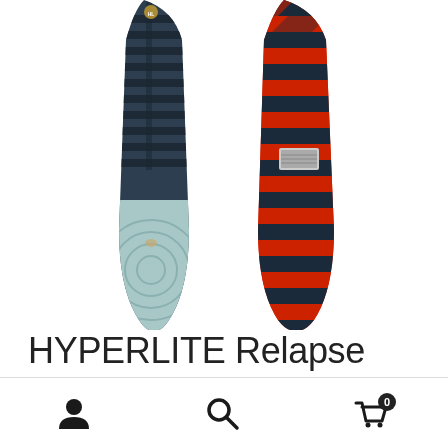[Figure (photo): Two HYPERLITE Relapse Wakeboards side by side. Left board is dark navy with horizontal stripe pattern on the top half and light blue/teal circular pattern on the bottom tip. Right board has a bold red and navy diagonal/chevron stripe pattern on the riding surface.]
HYPERLITE Relapse Wakeboard
$749.99  $599.99
Navigation bar with user icon, search icon, and cart icon with badge showing 0